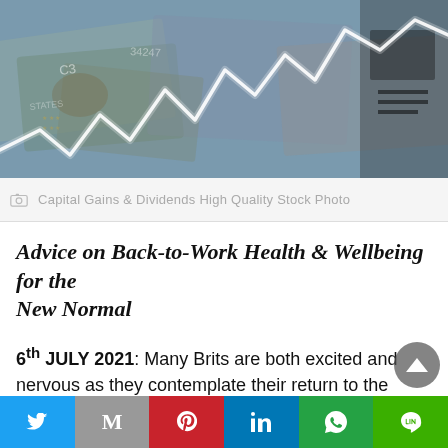[Figure (photo): Stock photo showing currency banknotes (British pounds and US dollars) with a white zigzag/upward trending stock market line chart overlaid on top, representing capital gains and dividends.]
Capital Gains & Dividends High Quality Stock Photo
Advice on Back-to-Work Health & Wellbeing for the New Normal
6th JULY 2021: Many Brits are both excited and nervous as they contemplate their return to the workplace following yesterday's announcement on